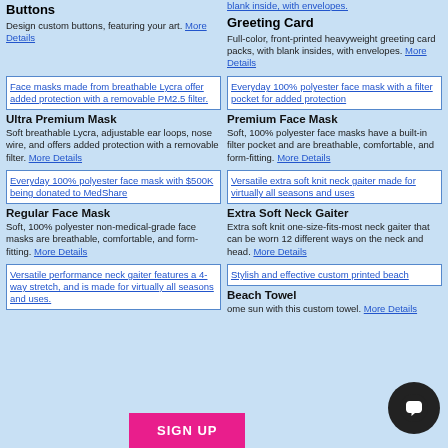Buttons
Design custom buttons, featuring your art. More Details
Greeting Card
Full-color, front-printed heavyweight greeting card packs, with blank insides, with envelopes. More Details
[Figure (photo): Face masks made from breathable Lycra offer added protection with a removable PM2.5 filter.]
Ultra Premium Mask
Soft breathable Lycra, adjustable ear loops, nose wire, and offers added protection with a removable filter. More Details
[Figure (photo): Everyday 100% polyester face mask with a filter pocket for added protection]
Premium Face Mask
Soft, 100% polyester face masks have a built-in filter pocket and are breathable, comfortable, and form-fitting. More Details
[Figure (photo): Everyday 100% polyester face mask with $500K being donated to MedShare]
Regular Face Mask
Soft, 100% polyester non-medical-grade face masks are breathable, comfortable, and form-fitting. More Details
[Figure (photo): Versatile extra soft knit neck gaiter made for virtually all seasons and uses]
Extra Soft Neck Gaiter
Extra soft knit one-size-fits-most neck gaiter that can be worn 12 different ways on the neck and head. More Details
[Figure (photo): Versatile performance neck gaiter features a 4-way stretch, and is made for virtually all seasons and uses.]
[Figure (photo): Stylish and effective custom printed beach]
Beach Towel
ome sun with this custom towel. More Details